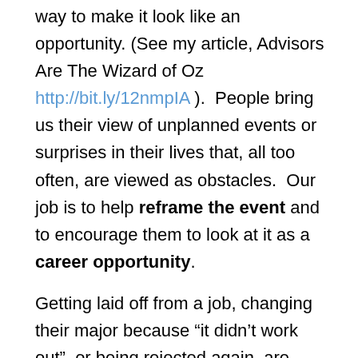way to make it look like an opportunity. (See my article, Advisors Are The Wizard of Oz http://bit.ly/12nmpIA ). People bring us their view of unplanned events or surprises in their lives that, all too often, are viewed as obstacles. Our job is to help reframe the event and to encourage them to look at it as a career opportunity.
Getting laid off from a job, changing their major because “it didn’t work out”, or being rejected again, are events out of their control in most cases. The old school answer “things happen for a reason” is close but not exactly what people need to hear.